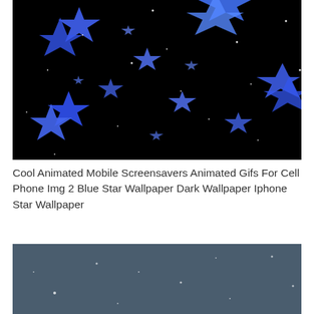[Figure (illustration): Dark black background with multiple blue glowing stars of various sizes scattered across the image, some large and prominent in the foreground, with small white sparkle dots throughout.]
Cool Animated Mobile Screensavers Animated Gifs For Cell Phone Img 2 Blue Star Wallpaper Dark Wallpaper Iphone Star Wallpaper
[Figure (screenshot): Dark blue-gray background with small white sparkle dots scattered across, resembling a night sky screensaver animation.]